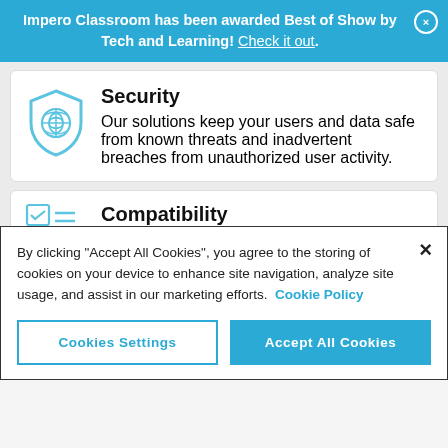Impero Classroom has been awarded Best of Show by Tech and Learning! Check it out.
Security
Our solutions keep your users and data safe from known threats and inadvertent breaches from unauthorized user activity.
Compatibility
By clicking “Accept All Cookies”, you agree to the storing of cookies on your device to enhance site navigation, analyze site usage, and assist in our marketing efforts. Cookie Policy